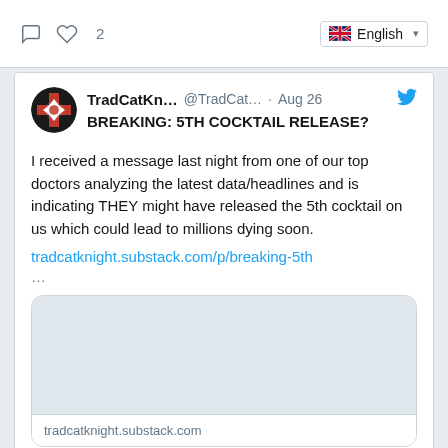[Figure (screenshot): Twitter/X screenshot showing a tweet from TradCatKn... (@TradCat...) dated Aug 26, with a comment icon, heart icon with count 2, and English language selector in the top bar. The tweet contains a bold headline 'BREAKING: 5TH COCKTAIL RELEASE?' followed by body text about receiving a message from a top doctor, and a link to tradcatknight.substack.com/p/breaking-5th, followed by a link preview card for tradcatknight.substack.com.]